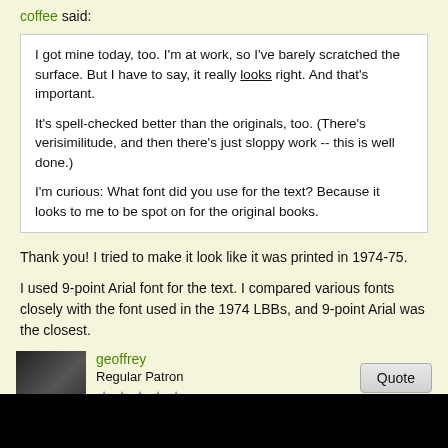coffee said:
I got mine today, too. I'm at work, so I've barely scratched the surface. But I have to say, it really looks right. And that's important.

It's spell-checked better than the originals, too. (There's verisimilitude, and then there's just sloppy work -- this is well done.)

I'm curious: What font did you use for the text? Because it looks to me to be spot on for the original books.
Thank you! I tried to make it look like it was printed in 1974-75.
I used 9-point Arial font for the text. I compared various fonts closely with the font used in the 1974 LBBs, and 9-point Arial was the closest.
geoffrey
Regular Patron
Oct 14, 2008 at 11:36pm
blackburn said: